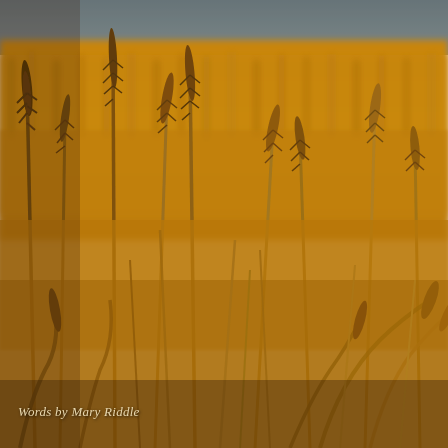[Figure (photo): A close-up photograph of a golden wheat field. Mature wheat stalks with heavy grain heads fill the foreground in warm amber and golden tones. The background shows an expansive wheat field stretching to the horizon under a slightly overcast sky. The image has a warm, harvest-time feel with rich golden yellows and browns.]
Words by Mary Riddle